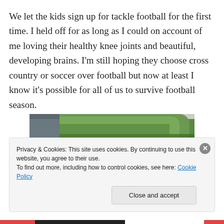We let the kids sign up for tackle football for the first time. I held off for as long as I could on account of me loving their healthy knee joints and beautiful, developing brains. I'm still hoping they choose cross country or soccer over football but now at least I know it's possible for all of us to survive football season.
[Figure (photo): Three children wearing football helmets, standing in front of a tree-lined background with a building visible on the left.]
Privacy & Cookies: This site uses cookies. By continuing to use this website, you agree to their use.
To find out more, including how to control cookies, see here: Cookie Policy
Close and accept